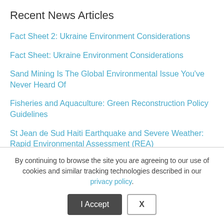Recent News Articles
Fact Sheet 2: Ukraine Environment Considerations
Fact Sheet: Ukraine Environment Considerations
Sand Mining Is The Global Environmental Issue You've Never Heard Of
Fisheries and Aquaculture: Green Reconstruction Policy Guidelines
St Jean de Sud Haiti Earthquake and Severe Weather: Rapid Environmental Assessment (REA)
Recent Comments
By continuing to browse the site you are agreeing to our use of cookies and similar tracking technologies described in our privacy policy.